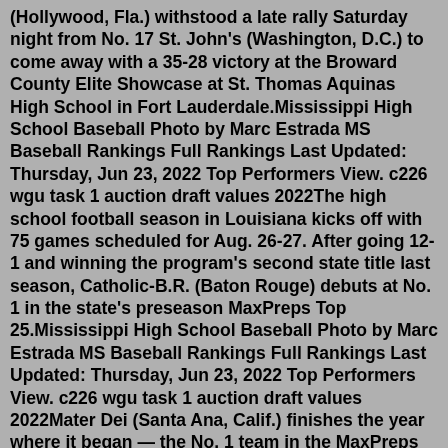(Hollywood, Fla.) withstood a late rally Saturday night from No. 17 St. John's (Washington, D.C.) to come away with a 35-28 victory at the Broward County Elite Showcase at St. Thomas Aquinas High School in Fort Lauderdale.Mississippi High School Baseball Photo by Marc Estrada MS Baseball Rankings Full Rankings Last Updated: Thursday, Jun 23, 2022 Top Performers View. c226 wgu task 1 auction draft values 2022The high school football season in Louisiana kicks off with 75 games scheduled for Aug. 26-27. After going 12-1 and winning the program's second state title last season, Catholic-B.R. (Baton Rouge) debuts at No. 1 in the state's preseason MaxPreps Top 25.Mississippi High School Baseball Photo by Marc Estrada MS Baseball Rankings Full Rankings Last Updated: Thursday, Jun 23, 2022 Top Performers View. c226 wgu task 1 auction draft values 2022Mater Dei (Santa Ana, Calif.) finishes the year where it began — the No. 1 team in the MaxPreps Top 25 high school football rankings. The